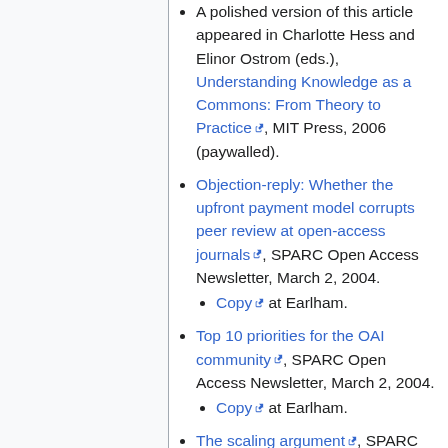A polished version of this article appeared in Charlotte Hess and Elinor Ostrom (eds.), Understanding Knowledge as a Commons: From Theory to Practice [link], MIT Press, 2006 (paywalled).
Objection-reply: Whether the upfront payment model corrupts peer review at open-access journals [link], SPARC Open Access Newsletter, March 2, 2004.
Copy [link] at Earlham.
Top 10 priorities for the OAI community [link], SPARC Open Access Newsletter, March 2, 2004.
Copy [link] at Earlham.
The scaling argument [link], SPARC Open Access Newsletter, March 2, 2004.